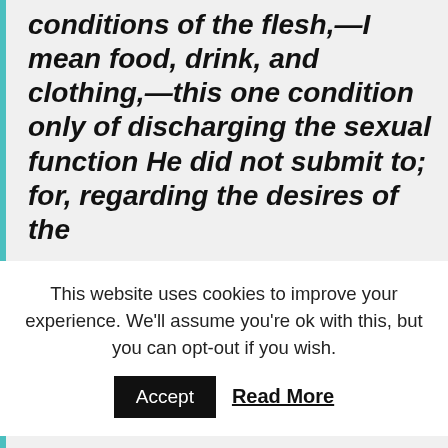conditions of the flesh,—I mean food, drink, and clothing,—this one condition only of discharging the sexual function He did not submit to; for, regarding the desires of the
This website uses cookies to improve your experience. We'll assume you're ok with this, but you can opt-out if you wish. Accept  Read More
destroyed; but being deprived of lawless desire, it suffers no harm. And at the same time He foretold that, in the future world, sexual intercourse should be done away